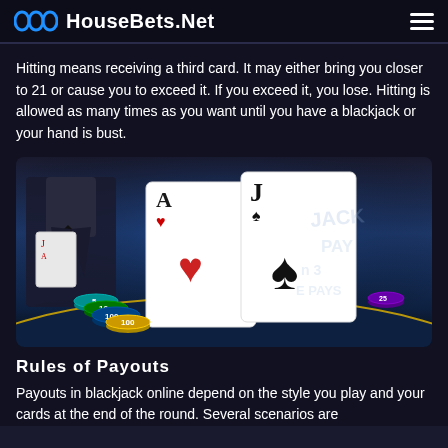HouseBets.Net
Hitting means receiving a third card. It may either bring you closer to 21 or cause you to exceed it. If you exceed it, you lose. Hitting is allowed as many times as you want until you have a blackjack or your hand is bust.
[Figure (photo): Blackjack table scene with dealer in tuxedo holding cards, two playing cards (Ace of Hearts and Jack of Spades) displayed prominently, casino chips (5, 10, 100 denominations) in foreground, and partial text 'BLACKJACK PAYS' visible on the blue felt table.]
Rules of Payouts
Payouts in blackjack online depend on the style you play and your cards at the end of the round. Several scenarios are